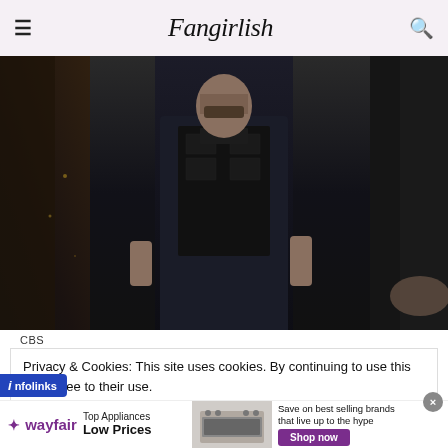Fangirlish
[Figure (photo): A man wearing a dark navy jacket and black tactical vest standing in a dark industrial setting. Only the torso and lower face with beard are visible.]
CBS
Privacy & Cookies: This site uses cookies. By continuing to use this you agree to their use.
[Figure (infographic): Wayfair advertisement banner: Top Appliances Low Prices, Save on best selling brands that live up to the hype. Shop now button. Infolinks badge on left side.]